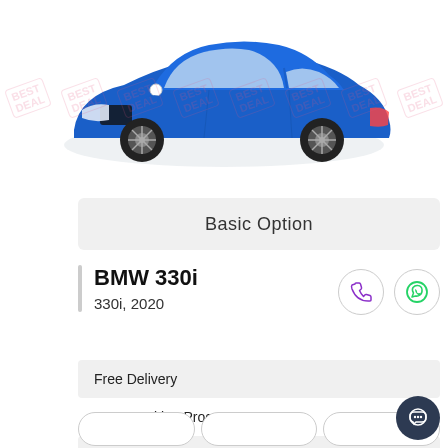[Figure (photo): Blue BMW 330i sedan 2020, side-front view, on white background with faint pink watermark stamps]
Basic Option
BMW 330i
330i, 2020
Free Delivery
Easy Booking Process
Contract terms apply
Free Service and Maintenance